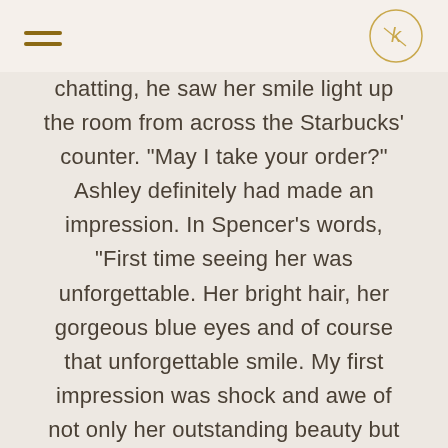Navigation header with hamburger menu and logo
chatting, he saw her smile light up the room from across the Starbucks’ counter. “May I take your order?”  Ashley definitely had made an impression.  In Spencer’s words, “First time seeing her was unforgettable. Her bright hair, her gorgeous blue eyes and of course that unforgettable smile.  My first impression was shock and awe of not only her outstanding beauty but her ever-present smile and kind...